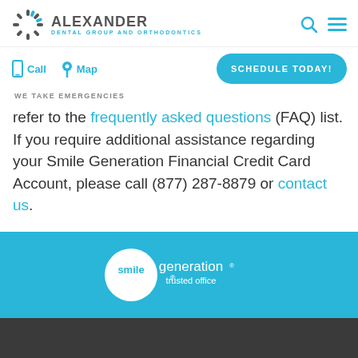ALEXANDER DENTAL GROUP AND ORTHODONTICS
Call  Map  WE TAKE EMERGENCIES  SCHEDULE TODAY!
refer to the frequently asked questions (FAQ) list. If you require additional assistance regarding your Smile Generation Financial Credit Card Account, please call (877) 287-8879 or contact us.
[Figure (logo): Smile Generation trusted office logo — white circle with 'smile' in white on blue background and 'generation trusted office' in white text]